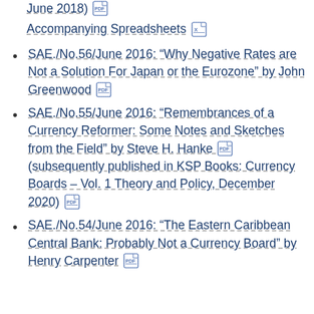June 2018) [PDF]
Accompanying Spreadsheets [XLS]
SAE./No.56/June 2016: “Why Negative Rates are Not a Solution For Japan or the Eurozone” by John Greenwood [PDF]
SAE./No.55/June 2016: “Remembrances of a Currency Reformer: Some Notes and Sketches from the Field” by Steve H. Hanke [PDF](subsequently published in KSP Books: Currency Boards – Vol. 1 Theory and Policy, December 2020) [PDF]
SAE./No.54/June 2016: “The Eastern Caribbean Central Bank: Probably Not a Currency Board” by Henry Carpenter [PDF]